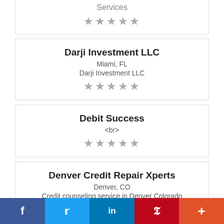Services
★★★★★
Darji Investment LLC
Miami, FL
Darji Investment LLC
★★★★★
Debit Success
<br>
★★★★★
Denver Credit Repair Xperts
Denver, CO
Credit counseling service in Denver Colorado
★★★★★
f  🐦  in  P  +